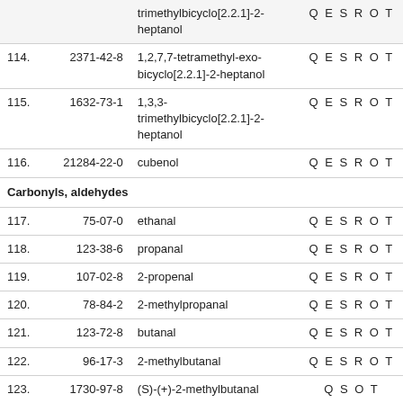| No. | CAS | Name | Codes |
| --- | --- | --- | --- |
|  |  | trimethylbicyclo[2.2.1]-2-heptanol | Q E S R O T |
| 114. | 2371-42-8 | 1,2,7,7-tetramethyl-exo-bicyclo[2.2.1]-2-heptanol | Q E S R O T |
| 115. | 1632-73-1 | 1,3,3-trimethylbicyclo[2.2.1]-2-heptanol | Q E S R O T |
| 116. | 21284-22-0 | cubenol | Q E S R O T |
| Carbonyls, aldehydes |  |  |  |
| 117. | 75-07-0 | ethanal | Q E S R O T |
| 118. | 123-38-6 | propanal | Q E S R O T |
| 119. | 107-02-8 | 2-propenal | Q E S R O T |
| 120. | 78-84-2 | 2-methylpropanal | Q E S R O T |
| 121. | 123-72-8 | butanal | Q E S R O T |
| 122. | 96-17-3 | 2-methylbutanal | Q E S R O T |
| 123. | 1730-97-8 | (S)-(+)-2-methylbutanal | Q S O T |
| 124. | 1730-97-8 | (S)-2-methylbutanal | Q S O T |
| 125. | 33204-48-7 | (R)-2-methylbutanal | Q S T |
| 126. | 590-86-3 | 3-methylbutanal | Q E S R O T |